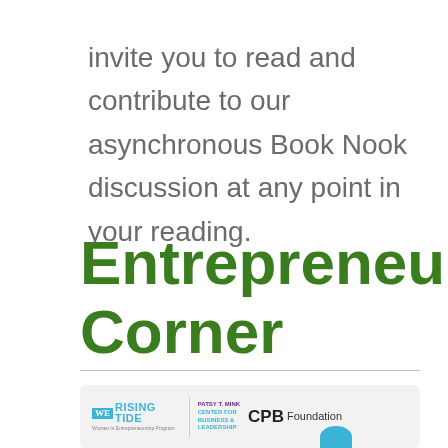invite you to read and contribute to our asynchronous Book Nook discussion at any point in your reading.
Entrepreneur's Corner
[Figure (logo): Logos of WE Rising Tide Women in Entrepreneurship Program, Patsy T. Mink Center for Business & Leadership, and CPB Foundation]